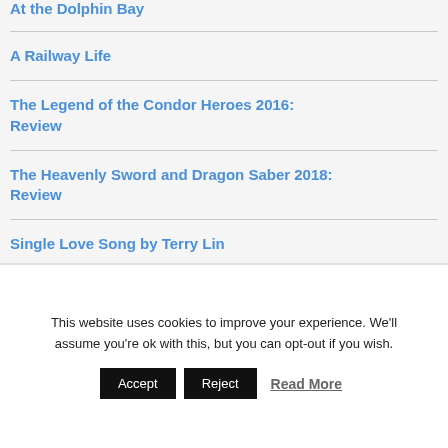At the Dolphin Bay
A Railway Life
The Legend of the Condor Heroes 2016: Review
The Heavenly Sword and Dragon Saber 2018: Review
Single Love Song by Terry Lin
This website uses cookies to improve your experience. We'll assume you're ok with this, but you can opt-out if you wish.
Accept | Reject | Read More